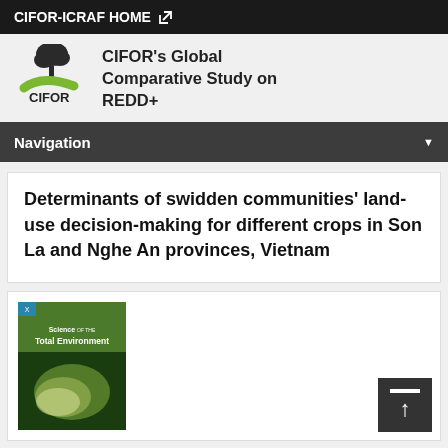CIFOR-ICRAF HOME
CIFOR's Global Comparative Study on REDD+
Navigation
Determinants of swidden communities' land-use decision-making for different crops in Son La and Nghe An provinces, Vietnam
[Figure (photo): Cover image of Science of the Total Environment journal]